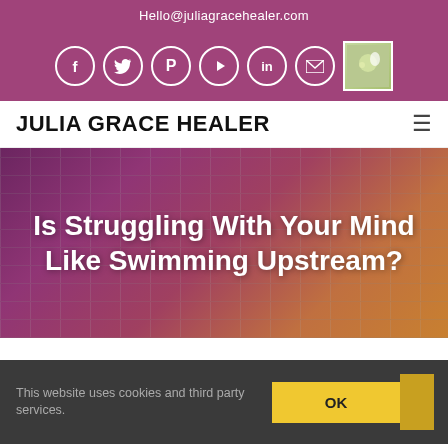Hello@juliagracehealer.com
[Figure (other): Social media icons bar with Facebook, Twitter, Pinterest, YouTube, LinkedIn, Email icons in circles, and a small flower profile thumbnail, all on purple background]
JULIA GRACE HEALER
[Figure (other): Hero image with blurred notebook background and text overlay: 'Is Struggling With Your Mind Like Swimming Upstream?']
This website uses cookies and third party services.
OK